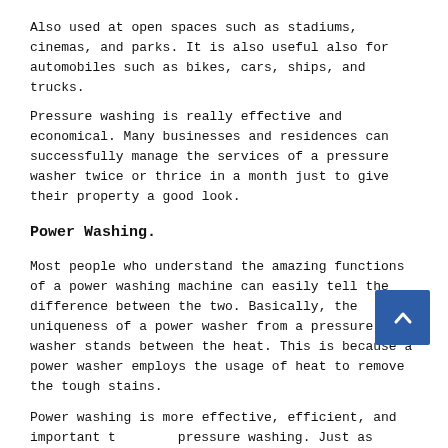Also used at open spaces such as stadiums, cinemas, and parks. It is also useful also for automobiles such as bikes, cars, ships, and trucks.
Pressure washing is really effective and economical. Many businesses and residences can successfully manage the services of a pressure washer twice or thrice in a month just to give their property a good look.
Power Washing.
Most people who understand the amazing functions of a power washing machine can easily tell the difference between the two. Basically, the uniqueness of a power washer from a pressure washer stands between the heat. This is because a power washer employs the usage of heat to remove the tough stains.
Power washing is more effective, efficient, and important than pressure washing. Just as pressure washing, power washing can be as necessary for many commercials. However, power washing is used when the situation is a serious one.
Power washing is great for...